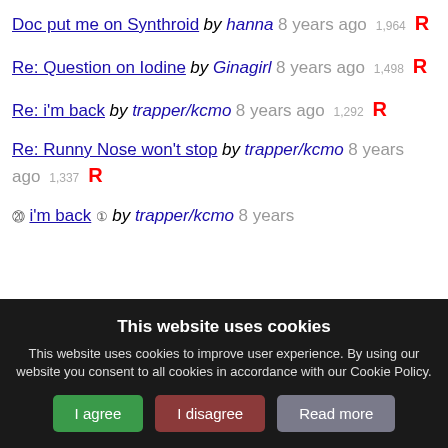Doc put me on Synthroid by hanna 8 years ago 1,964 R
Re: Question on Iodine by Ginagirl 8 years ago 1,498 R
Re: i'm back by trapper/kcmo 8 years ago 1,292 R
Re: Runny Nose won't stop by trapper/kcmo 8 years ago 1,337 R
i'm back by trapper/kcmo 8 years ago
This website uses cookies. This website uses cookies to improve user experience. By using our website you consent to all cookies in accordance with our Cookie Policy.